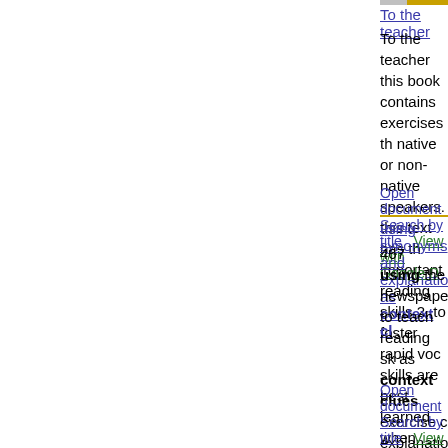To the teacher
To the teacher this book contains exercises th native or non-native speakers. this text has th important reading skills 2. to foster rapid voc skills are best learned when they are needed to solve the meaning of a key word.
Open document  Search by title  View with Google D
using synonyms and explanations as context cl
467 using the newspaper to teach reading sk as context clues exercise c explanations and information about new words and phrases. p these context clues when you do exercise c. tricks of the trade 1.
Open document  Search by title  View with Google D
context clues
context clues objective: sw identify what co meaning. materials: a variety of texts (text b along) that provide new and challenging wor have students practice using context clues t
Open document  Search by title  View with Google D
Read-alouds, context clues, sq3r, and prior kno
Linda dale, best practice, high school arts ar